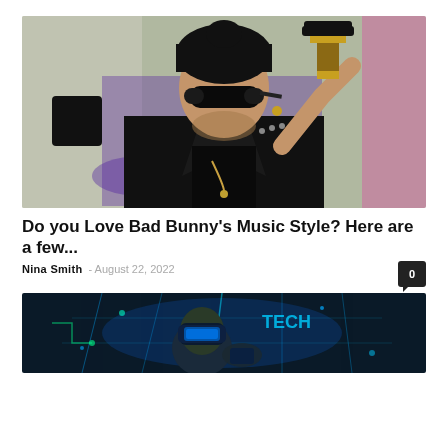[Figure (photo): Man in black leather jacket, black sunglasses, and black beanie hat, holding a trophy/award to his shoulder at an outdoor event. Background is blurred with colorful lights.]
Do you Love Bad Bunny's Music Style? Here are a few...
Nina Smith - August 22, 2022
[Figure (photo): Person wearing a VR headset with glowing blue holographic digital interface elements around them in a dark tech environment.]